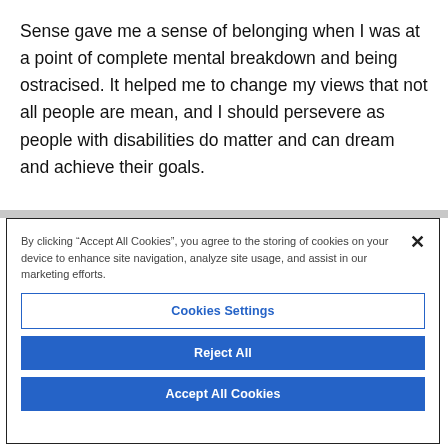Sense gave me a sense of belonging when I was at a point of complete mental breakdown and being ostracised. It helped me to change my views that not all people are mean, and I should persevere as people with disabilities do matter and can dream and achieve their goals.
By clicking “Accept All Cookies”, you agree to the storing of cookies on your device to enhance site navigation, analyze site usage, and assist in our marketing efforts.
Cookies Settings
Reject All
Accept All Cookies